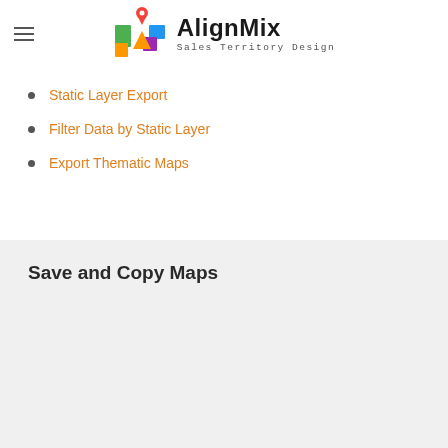AlignMix Sales Territory Design
Static Layer Export
Filter Data by Static Layer
Export Thematic Maps
Save and Copy Maps